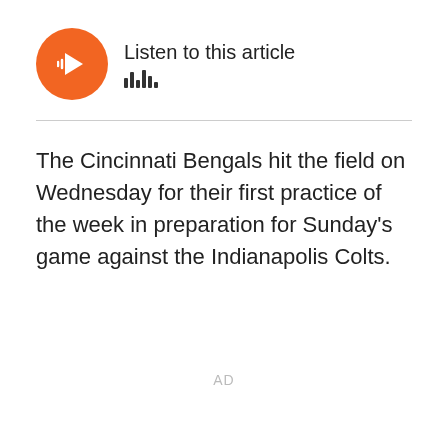[Figure (other): Audio player widget with orange circular play button and 'Listen to this article' text with waveform icon]
The Cincinnati Bengals hit the field on Wednesday for their first practice of the week in preparation for Sunday's game against the Indianapolis Colts.
AD